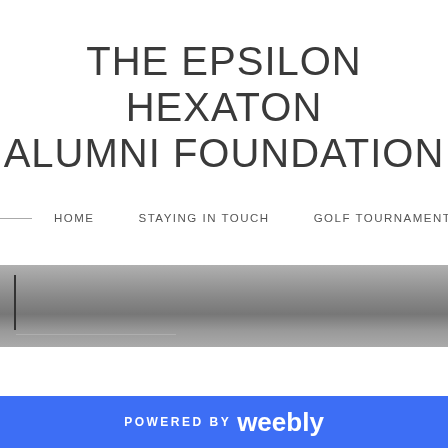THE EPSILON HEXATON ALUMNI FOUNDATION
HOME   STAYING IN TOUCH   GOLF TOURNAMENT   A
[Figure (photo): Grayscale photograph of what appears to be a building or structure, partially visible, with a dark vertical element on the left side]
POWERED BY weebly